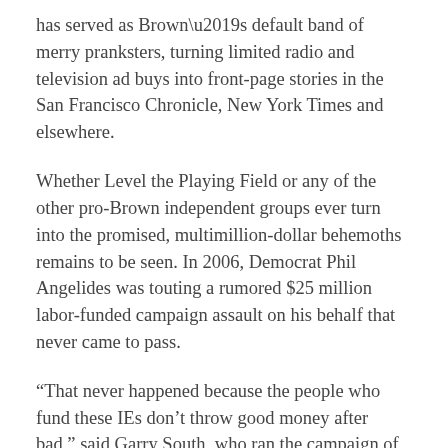has served as Brown's default band of merry pranksters, turning limited radio and television ad buys into front-page stories in the San Francisco Chronicle, New York Times and elsewhere.
Whether Level the Playing Field or any of the other pro-Brown independent groups ever turn into the promised, multimillion-dollar behemoths remains to be seen. In 2006, Democrat Phil Angelides was touting a rumored $25 million labor-funded campaign assault on his behalf that never came to pass.
“That never happened because the people who fund these IEs don’t throw good money after bad,” said Garry South, who ran the campaign of Angelides’ primary rival, Steve Westly. “They’re not stupid.”